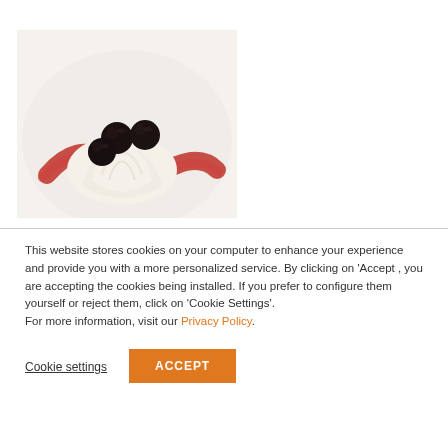[Figure (photo): A dessert plate with a swirl of whipped cream topped with dark cherries or blueberries, with a red berry sauce drizzled around it on a white plate.]
This website stores cookies on your computer to enhance your experience and provide you with a more personalized service. By clicking on 'Accept , you are accepting the cookies being installed. If you prefer to configure them yourself or reject them, click on 'Cookie Settings'. For more information, visit our Privacy Policy.
Cookie settings
ACCEPT